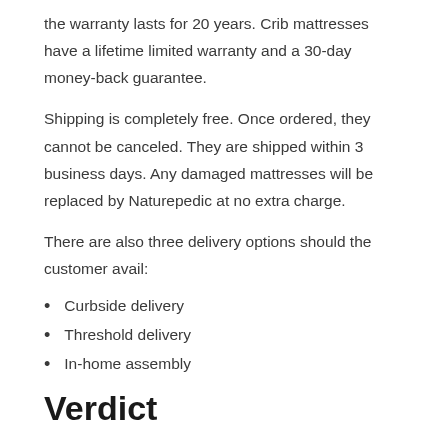the warranty lasts for 20 years. Crib mattresses have a lifetime limited warranty and a 30-day money-back guarantee.
Shipping is completely free. Once ordered, they cannot be canceled. They are shipped within 3 business days. Any damaged mattresses will be replaced by Naturepedic at no extra charge.
There are also three delivery options should the customer avail:
Curbside delivery
Threshold delivery
In-home assembly
Verdict
For those looking for organic mattresses, Naturepedic mattress are a great choice. While they are expensive, their chemical-free properties and customizable options make up for it.